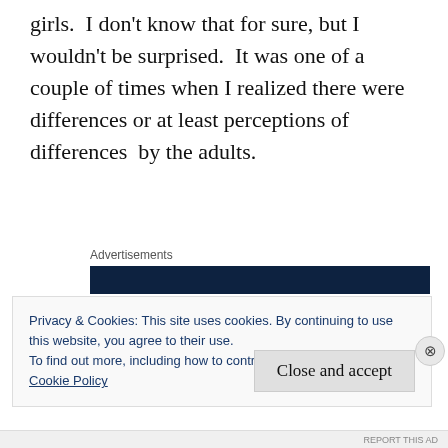girls.  I don't know that for sure, but I wouldn't be surprised.  It was one of a couple of times when I realized there were differences or at least perceptions of differences  by the adults.
[Figure (screenshot): Advertisements banner with dark navy background and partially visible text/logo]
I have told you before that we didn't have a lot of money and that I was expected to work from
Privacy & Cookies: This site uses cookies. By continuing to use this website, you agree to their use.
To find out more, including how to control cookies, see here:
Cookie Policy
Close and accept